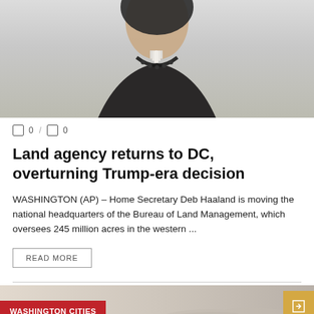[Figure (photo): Cropped photo of a woman wearing traditional Native American jewelry including a beaded necklace and decorative earrings, photographed against a light background]
0 / 0
Land agency returns to DC, overturning Trump-era decision
WASHINGTON (AP) – Home Secretary Deb Haaland is moving the national headquarters of the Bureau of Land Management, which oversees 245 million acres in the western ...
READ MORE
[Figure (photo): Partial image at bottom of page showing a landscape or cityscape photo with a red 'WASHINGTON CITIES' label tag on the left and a gold navigation button on the right]